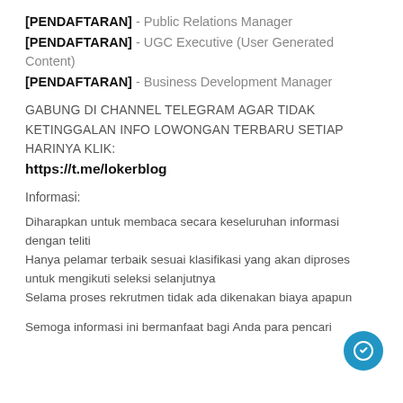[PENDAFTARAN] - Public Relations Manager
[PENDAFTARAN] - UGC Executive (User Generated Content)
[PENDAFTARAN] - Business Development Manager
GABUNG DI CHANNEL TELEGRAM AGAR TIDAK KETINGGALAN INFO LOWONGAN TERBARU SETIAP HARINYA KLIK:
https://t.me/lokerblog
Informasi:
Diharapkan untuk membaca secara keseluruhan informasi dengan teliti
Hanya pelamar terbaik sesuai klasifikasi yang akan diproses untuk mengikuti seleksi selanjutnya
Selama proses rekrutmen tidak ada dikenakan biaya apapun
Semoga informasi ini bermanfaat bagi Anda para pencari